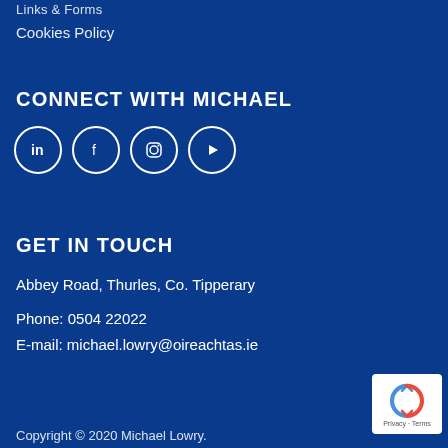Links & Forms
Cookies Policy
CONNECT WITH MICHAEL
[Figure (infographic): Four social media icons in white circles on blue background: LinkedIn, Facebook, Instagram, YouTube]
GET IN TOUCH
Abbey Road, Thurles, Co. Tipperary
Phone: 0504 22022
E-mail: michael.lowry@oireachtas.ie
[Figure (logo): reCAPTCHA badge with Privacy and Terms text]
Copyright © 2020 Michael Lowry.